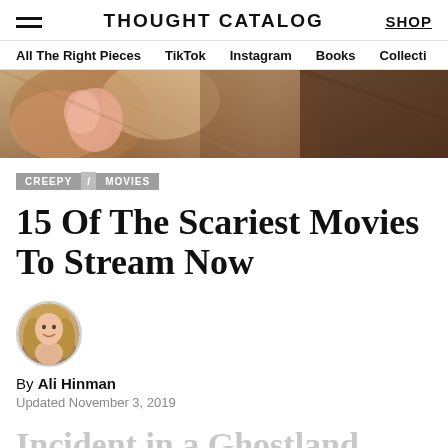THOUGHT CATALOG  SHOP
All The Right Pieces  TikTok  Instagram  Books  Collecti
[Figure (photo): Hero image showing a dimly lit, warm-toned scene with draped fabric and textures, partial face visible]
CREEPY / MOVIES
15 Of The Scariest Movies To Stream Now
[Figure (photo): Circular avatar photo of Ali Hinman, a woman with long blonde hair, smiling]
By Ali Hinman
Updated November 3, 2019
Incident in a Ghostland